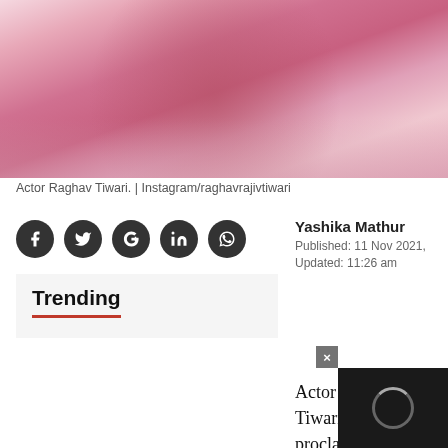[Figure (photo): Actor Raghav Tiwari wearing a pink floral kurta/jacket, posed for a photo]
Actor Raghav Tiwari. | Instagram/raghavrajivtiwari
[Figure (infographic): Social media share icons: Facebook, Twitter, Google+, LinkedIn, WhatsApp]
Yashika Mathur
Published: 11 Nov 2021, Updated: 11:26 am
Trending
Actor Raghav Tiwari is a self proclaimed Salman Khan-fan and when he got the chance to shoot for a project on the superstar's 201 Ratan Dhan Paayu, he was